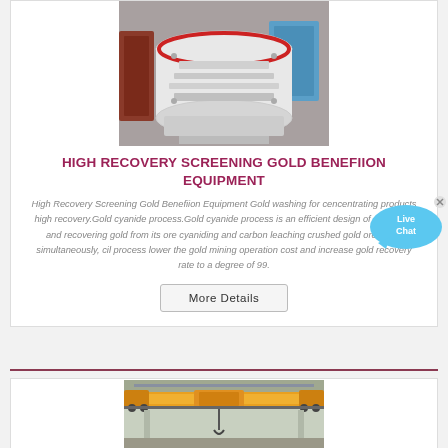[Figure (photo): Industrial gold screening/beneficiation equipment - large white cylindrical machine in a workshop setting]
HIGH RECOVERY SCREENING GOLD BENEFIION EQUIPMENT
High Recovery Screening Gold Benefiion Equipment Gold washing for cencentrating products high recovery.Gold cyanide process.Gold cyanide process is an efficient design of extracting and recovering gold from its ore cyaniding and carbon leaching crushed gold ore slurry simultaneously, cil process lower the gold mining operation cost and increase gold recovery rate to a degree of 99.
[Figure (infographic): Live Chat bubble/widget overlay in blue]
More Details
[Figure (photo): Industrial crane or overhead lifting equipment in a warehouse, yellow colored bridge crane]